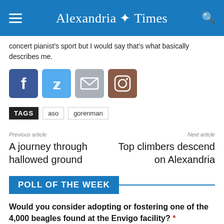Alexandria Times
concert pianist's sport but I would say that's what basically describes me.
[Figure (other): Social media share icons: Facebook, Twitter, Email, Instagram]
TAGS  aso  gorenman
Previous article
A journey through hallowed ground
Next article
Top climbers descend on Alexandria
POLL OF THE WEEK
Would you consider adopting or fostering one of the 4,000 beagles found at the Envigo facility? *
Yes, I have reached out already.